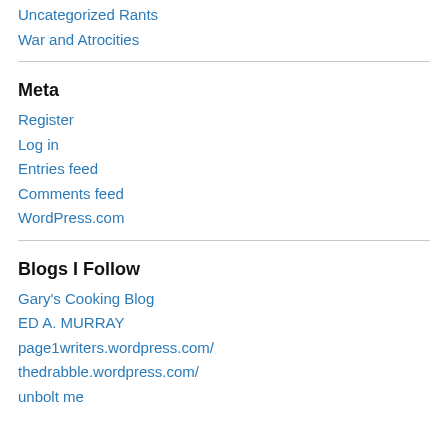Uncategorized Rants
War and Atrocities
Meta
Register
Log in
Entries feed
Comments feed
WordPress.com
Blogs I Follow
Gary's Cooking Blog
ED A. MURRAY
page1writers.wordpress.com/
thedrabble.wordpress.com/
unbolt me